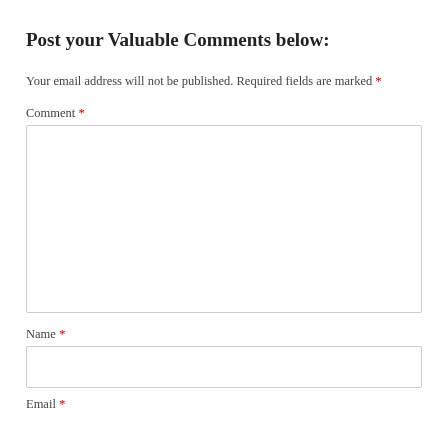Post your Valuable Comments below:
Your email address will not be published. Required fields are marked *
Comment *
Name *
Email *